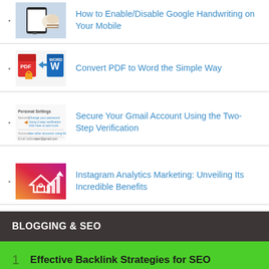How to Enable/Disable Google Handwriting on Your Mobile
Convert PDF to Word the Simple Way
Secure Your Gmail Account Using the Two-Step Verification
Instagram Analytics Marketing: Unveiling Its Incredible Benefits
BLOGGING & SEO
1  Effective Backlink Strategies for SEO